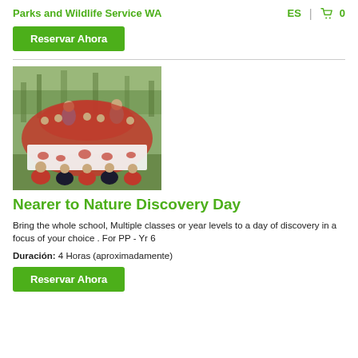Parks and Wildlife Service WA   ES  0
Reservar Ahora
[Figure (photo): Group photo of school children in red uniforms holding a white banner with red handprints, standing outdoors among trees.]
Nearer to Nature Discovery Day
Bring the whole school, Multiple classes or year levels to a day of discovery in a focus of your choice . For PP - Yr 6
Duración: 4 Horas (aproximadamente)
Reservar Ahora